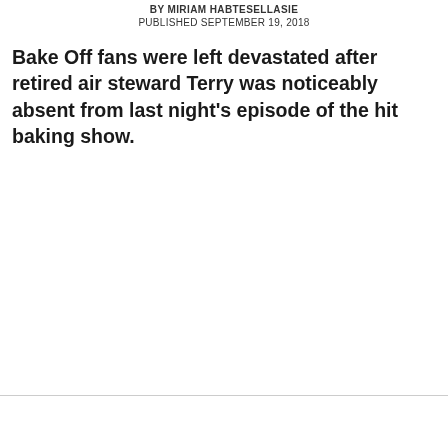BY MIRIAM HABTESELLASIE
PUBLISHED SEPTEMBER 19, 2018
Bake Off fans were left devastated after retired air steward Terry was noticeably absent from last night's episode of the hit baking show.